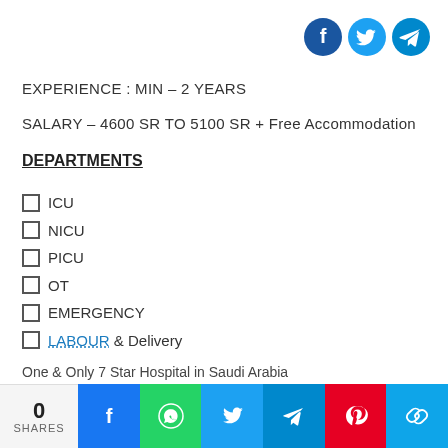[Figure (other): Social sharing icons: Facebook (dark blue circle), Twitter (light blue circle), Telegram (teal blue circle) in top right corner]
EXPERIENCE : MIN – 2 YEARS
SALARY – 4600 SR TO 5100 SR + Free Accommodation
DEPARTMENTS
ICU
NICU
PICU
OT
EMERGENCY
LABOUR & Delivery
One & Only 7 Star Hospital in Saudi Arabia
0 SHARES | Facebook | WhatsApp | Twitter | Telegram | Pinterest | Copy